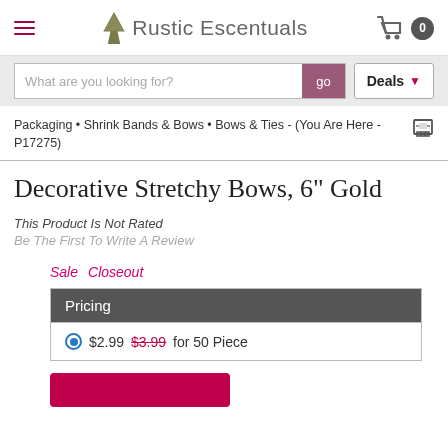Rustic Escentuals
What are you looking for?
Packaging • Shrink Bands & Bows • Bows & Ties - (You Are Here - P17275)
Decorative Stretchy Bows, 6" Gold
This Product Is Not Rated
Be The First To Write A Review
Sale   Closeout
| Pricing |
| --- |
| $2.99  $3.99 for 50 Piece |